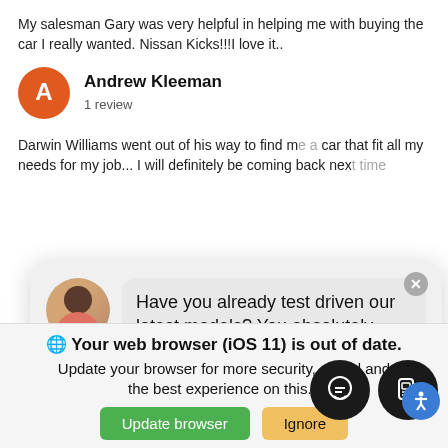My salesman Gary was very helpful in helping me with buying the car I really wanted. Nissan Kicks!!! love it..
Andrew Kleeman
1 review
Darwin Williams went out of his way to find me a car that fit all my needs for my job... I will definitely be coming back next time
[Figure (screenshot): Chatbot overlay with avatar, message 'Have you already test driven our latest models? You absolutely should!', Schedule Service button, and message input field]
website and our service.
Your web browser (iOS 11) is out of date. Update your browser for more security, speed and the best experience on this...
[Figure (screenshot): Update browser green button and Ignore yellow button, with dark circle icons for chat and messaging]